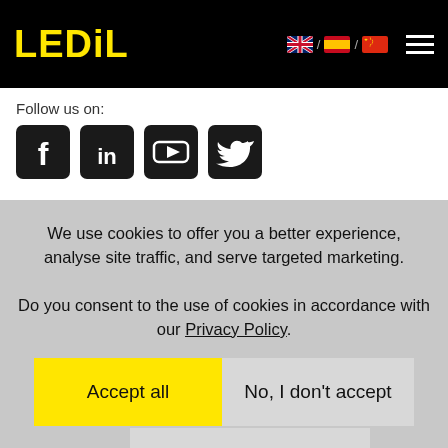LEDiL
Follow us on:
[Figure (illustration): Social media icons: Facebook, LinkedIn, YouTube, Twitter]
We use cookies to offer you a better experience, analyse site traffic, and serve targeted marketing. Do you consent to the use of cookies in accordance with our Privacy Policy.
Accept all
No, I don't accept
Manage settings